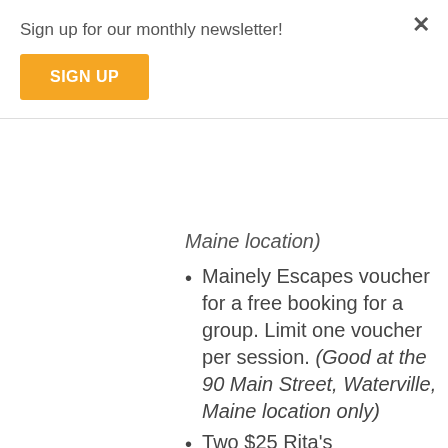Sign up for our monthly newsletter!
SIGN UP
Maine location) [partial, italic, cut off at top]
Mainely Escapes voucher for a free booking for a group. Limit one voucher per session. (Good at the 90 Main Street, Waterville, Maine location only)
Two $25 Rita's Ri... [partial, cut off at bottom]